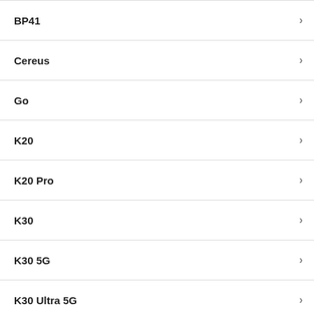BP41
Cereus
Go
K20
K20 Pro
K30
K30 5G
K30 Ultra 5G
K30s
K40 5G
K40 Game